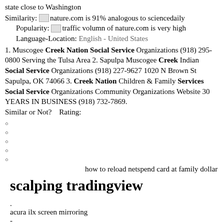state close to Washington
Similarity: [icon] nature.com is 91% analogous to sciencedaily
Popularity: [icon] traffic volumn of nature.com is very high
Language-Location: English - United States
1. Muscogee Creek Nation Social Service Organizations (918) 295-0800 Serving the Tulsa Area 2. Sapulpa Muscogee Creek Indian Social Service Organizations (918) 227-9627 1020 N Brown St Sapulpa, OK 74066 3. Creek Nation Children & Family Services Social Service Organizations Community Organizations Website 30 YEARS IN BUSINESS (918) 732-7869.
Similar or Not?    Rating:
how to reload netspend card at family dollar
scalping tradingview
.
acura ilx screen mirroring
-
delta diamonds strain review